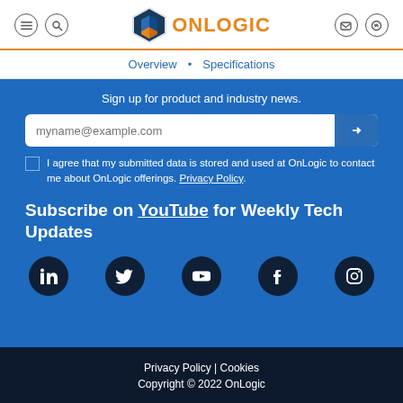OnLogic — Overview • Specifications navigation header
Sign up for product and industry news.
myname@example.com [email input field with submit button]
I agree that my submitted data is stored and used at OnLogic to contact me about OnLogic offerings. Privacy Policy.
Subscribe on YouTube for Weekly Tech Updates
[Figure (infographic): Social media icons: LinkedIn, Twitter, YouTube, Facebook, Instagram]
Privacy Policy | Cookies
Copyright © 2022 OnLogic